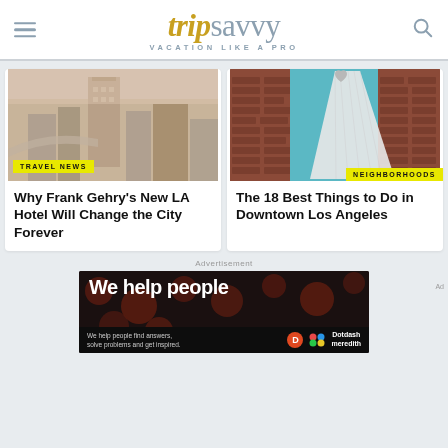tripsavvy VACATION LIKE A PRO
[Figure (screenshot): City skyline with modern buildings — LA skyline photo]
TRAVEL NEWS
Why Frank Gehry's New LA Hotel Will Change the City Forever
[Figure (photo): Fountain with heart shape in front of brick wall mural]
NEIGHBORHOODS
The 18 Best Things to Do in Downtown Los Angeles
Advertisement
[Figure (screenshot): Dotdash Meredith advertisement — We help people find answers, solve problems and get inspired.]